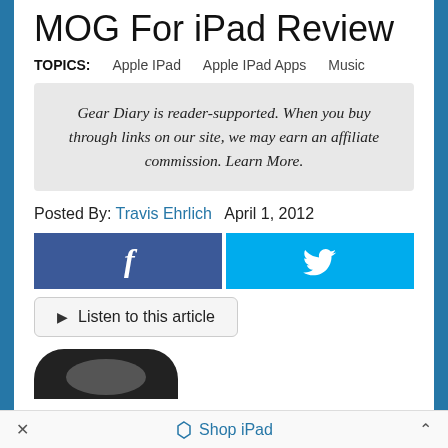MOG For iPad Review
TOPICS: Apple IPad   Apple IPad Apps   Music
Gear Diary is reader-supported. When you buy through links on our site, we may earn an affiliate commission. Learn More.
Posted By: Travis Ehrlich   April 1, 2012
[Figure (other): Facebook and Twitter share buttons side by side]
Listen to this article
[Figure (other): Partial image of MOG app icon showing rounded black shape at bottom of page]
× Shop iPad ^